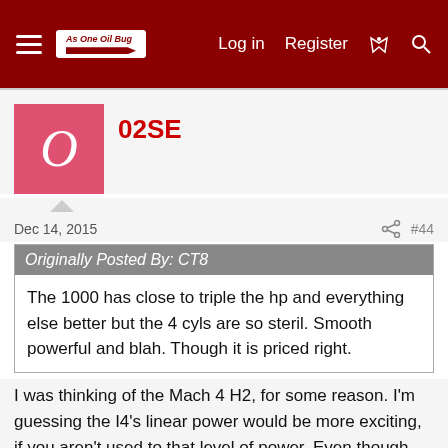Navigation bar with hamburger menu, logo, Log in, Register, and icons
02SE
Dec 14, 2015
#44
Originally Posted By: CT8
The 1000 has close to triple the hp and everything else better but the 4 cyls are so steril. Smooth powerful and blah. Though it is priced right.
I was thinking of the Mach 4 H2, for some reason. I'm guessing the I4's linear power would be more exciting, if you aren't used to that level of power. Even though there are much more powerful bikes these days, even stock. As a rider getting back into riding, I'd be willing to bet you might find it plenty exciting. At any rate, good luck with your decision.